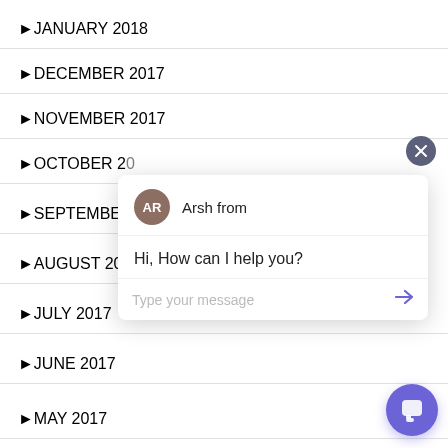JANUARY 2018
DECEMBER 2017
NOVEMBER 2017
OCTOBER 20[17]
SEPTEMBER [2017]
AUGUST 20[17]
JULY 2017
JUNE 2017
MAY 2017
[Figure (screenshot): Chat widget overlay showing 'AR' avatar for 'Arsh from', message 'Hi, How can I help you?', and a 'Type your message' input field with a send arrow button. A close button (X) appears top right, and a purple chat launcher button appears bottom right.]